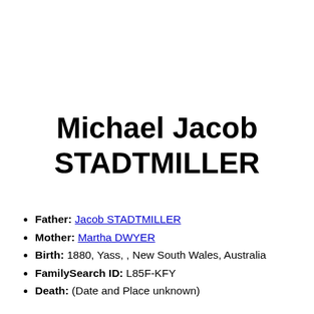Michael Jacob STADTMILLER
Father: Jacob STADTMILLER
Mother: Martha DWYER
Birth: 1880, Yass, , New South Wales, Australia
FamilySearch ID: L85F-KFY
Death: (Date and Place unknown)